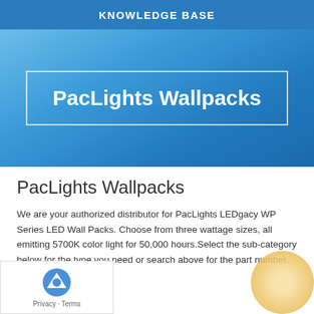KNOWLEDGE BASE
[Figure (other): Blue gradient hero banner with white bordered box containing title 'PacLights Wallpacks' in white bold text]
PacLights Wallpacks
We are your authorized distributor for PacLights LEDgacy WP Series LED Wall Packs. Choose from three wattage sizes, all emitting 5700K color light for 50,000 hours.Select the sub-category below for the type you need or search above for the part number.